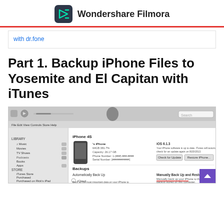Wondershare Filmora
with dr.fone
Part 1. Backup iPhone Files to Yosemite and El Capitan with iTunes
[Figure (screenshot): Screenshot of iTunes application showing iPhone 4S device management page with Backups section including 'Automatically Back Up' and 'Manually Back Up and Restore' options. Left sidebar shows Library sections (Music, Movies, TV Shows, Podcasts, Books, Apps) and Store sections (iTunes Store, Purchased, Purchased on Rick's iPad, Purchased on Rick's iPhone, Purchased on Rick's iPhone, Purchased on Sarah's iPad).]